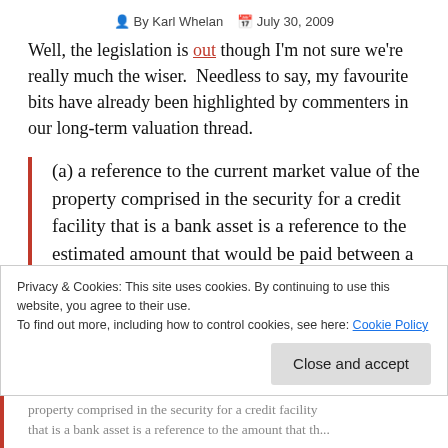By Karl Whelan   July 30, 2009
Well, the legislation is out though I'm not sure we're really much the wiser.  Needless to say, my favourite bits have already been highlighted by commenters in our long-term valuation thread.
(a) a reference to the current market value of the property comprised in the security for a credit facility that is a bank asset is a reference to the estimated amount that would be paid between a willing buyer
Privacy & Cookies: This site uses cookies. By continuing to use this website, you agree to their use.
To find out more, including how to control cookies, see here: Cookie Policy
property comprised in the security for a credit facility that is a bank asset is a reference to the amount that the...